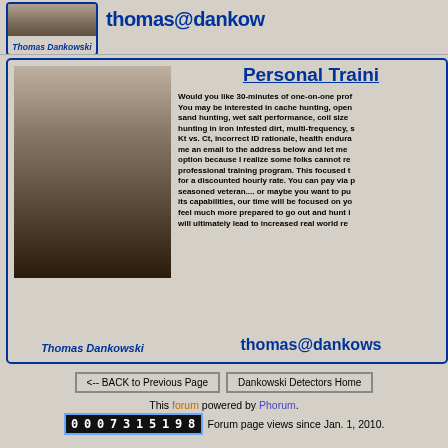[Figure (photo): Top banner with small photo of Thomas Dankowski on left and partial email address on right]
Thomas Dankowski
thomas@danko...
[Figure (photo): Main content box with photo of Thomas Dankowski on left, title 'Personal Training' and text about 30-minute one-on-one professional training sessions on right]
Personal Traini...
Would you like 30-minutes of one-on-one prof... You may be interested in cache hunting, open... sand hunting, wet salt performance, coil size... hunting in iron infested dirt, multi-frequency, s... Kt vs. Ct, incorrect ID rationale, health endura... me an email to the address below and let me... option because I realize some folks cannot re... professional training program. This focused t... for a discounted hourly rate. You can pay via... seasoned veteran.... or maybe you want to pu... its capabilities, our time will be focused on yo... feel much more prepared to go out and hunt i... will ultimately lead to increased real world re...
Thomas Dankowski
thomas@dankows...
<-- BACK to Previous Page
Dankowski Detectors Home
This forum powered by Phorum. Forum page views since Jan. 1, 2010.
0007315198